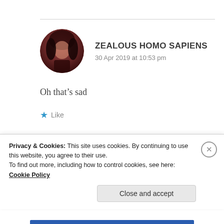ZEALOUS HOMO SAPIENS
30 Apr 2019 at 10:53 pm
Oh that's sad
Like
Privacy & Cookies: This site uses cookies. By continuing to use this website, you agree to their use.
To find out more, including how to control cookies, see here: Cookie Policy
Close and accept